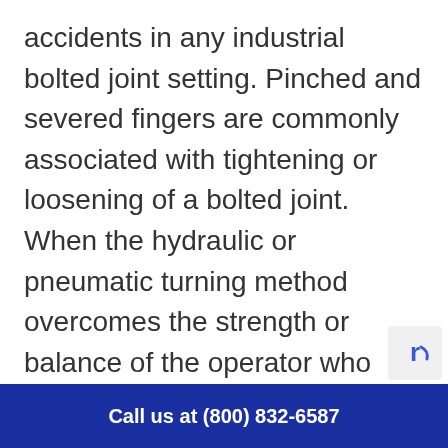accidents in any industrial bolted joint setting. Pinched and severed fingers are commonly associated with tightening or loosening of a bolted joint. When the hydraulic or pneumatic turning method overcomes the strength or balance of the operator who holds the back-up wrench, the operators' safety can be compromised. From a reliability standpoint, it is often the case that there is not ample clearance on the backside of the flange to install a back-up wrench.
Call us at (800) 832-6587